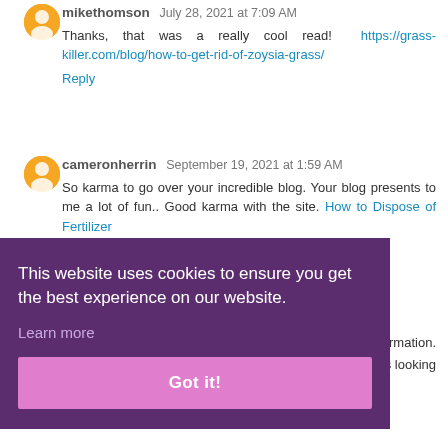mikethomson July 28, 2021 at 7:09 AM
Thanks, that was a really cool read! https://grass-killer.com/blog/how-to-get-rid-of-zoysia-grass/
Reply
cameronherrin September 19, 2021 at 1:59 AM
So karma to go over your incredible blog. Your blog presents to me a lot of fun.. Good karma with the site. How to Dispose of Fertilizer
Reply
This website uses cookies to ensure you get the best experience on our website.
Learn more
Got it!